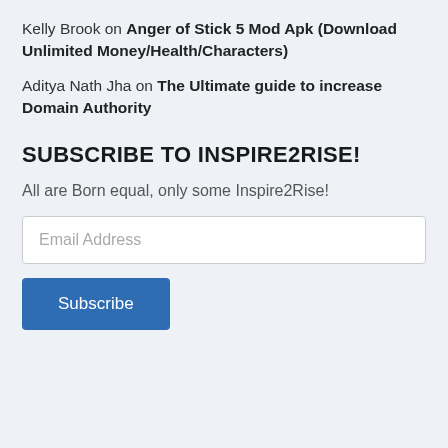Kelly Brook on Anger of Stick 5 Mod Apk (Download Unlimited Money/Health/Characters)
Aditya Nath Jha on The Ultimate guide to increase Domain Authority
SUBSCRIBE TO INSPIRE2RISE!
All are Born equal, only some Inspire2Rise!
Email Address
Subscribe